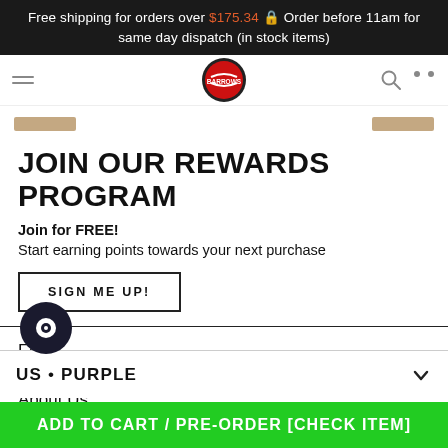Free shipping for orders over $175.34 🔒 Order before 11am for same day dispatch (in stock items)
[Figure (logo): Circular red and black store logo in navigation bar]
JOIN OUR REWARDS PROGRAM
Join for FREE!
Start earning points towards your next purchase
SIGN ME UP!
FAQs
About Us
BLOG
US • PURPLE
ADD TO CART / PRE-ORDER [CHECK ITEM]